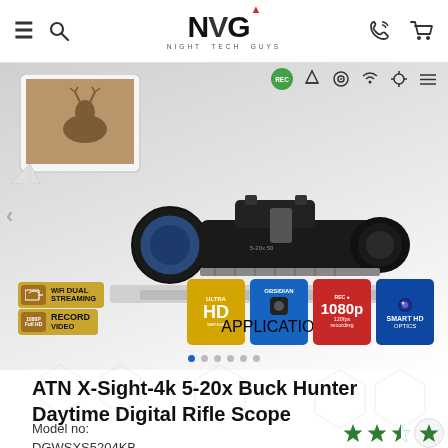NVG Night Vision Guys — navigation header with menu, search, logo, phone and cart icons
[Figure (photo): Product hero image of ATN X-Sight-4k 5-20x Buck Hunter Daytime Digital Rifle Scope mounted on a rifle, with a tablet showing a deer image, WiFi Dual Streaming and 1080p Full HD Record Video badges, and feature icons (Ultra HD sensor, Obsidian Applications, 1080p 120fps recording, Smart HD Optics). Slider dots navigation at bottom.]
ATN X-Sight-4k 5-20x Buck Hunter Daytime Digital Rifle Scope
Model no:
DGWSXS5204KB